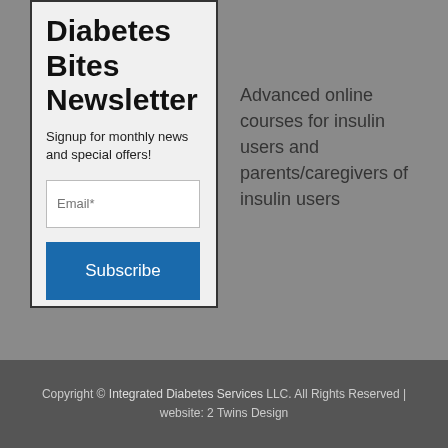Diabetes Bites Newsletter
Signup for monthly news and special offers!
Advanced online courses for insulin users and parents/caregivers of insulin users
Copyright © Integrated Diabetes Services LLC. All Rights Reserved | website: 2 Twins Design